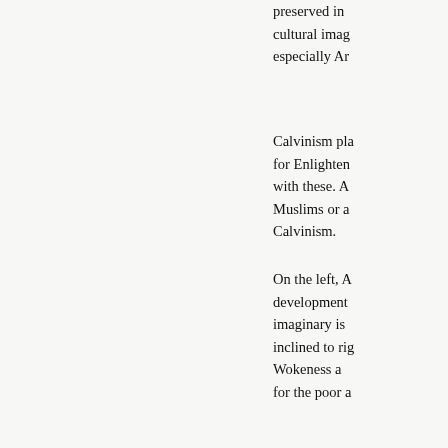preserved in cultural imag especially Ar
Calvinism pla for Enlighten with these. A Muslims or a Calvinism.
On the left, A development imaginary is inclined to rig Wokeness a for the poor a
Catholics—o It's not about Catholics hav common with another.
And both libe moderns tha and the disti